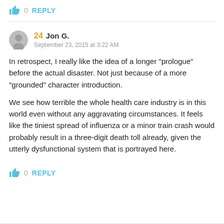👍 0  REPLY
24  Jon G.
September 23, 2015 at 3:22 AM
In retrospect, I really like the idea of a longer "prologue" before the actual disaster. Not just because of a more "grounded" character introduction.

We see how terrible the whole health care industry is in this world even without any aggravating circumstances. It feels like the tiniest spread of influenza or a minor train crash would probably result in a three-digit death toll already, given the utterly dysfunctional system that is portrayed here.
👍 0  REPLY